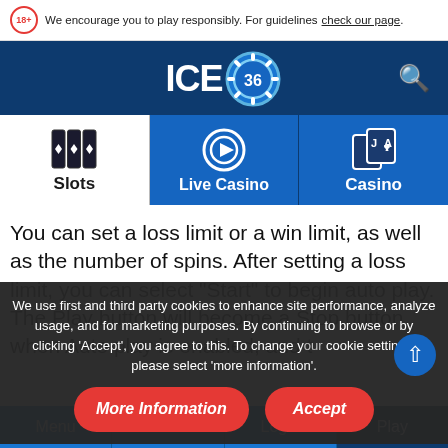We encourage you to play responsibly. For guidelines check our page.
[Figure (logo): ICE36 casino logo with poker chip graphic]
[Figure (illustration): Search icon (magnifying glass) in top right]
[Figure (illustration): Slots tab icon - three diamond slot reels]
Slots
[Figure (illustration): Live Casino tab icon - poker chip with play button]
Live Casino
[Figure (illustration): Casino tab icon - playing cards]
Casino
You can set a loss limit or a win limit, as well as the number of spins. After setting a loss limit, you can select "Start" to begin auto play. The Play button will become a Stop button when Auto play is enabled, and t
We use first and third party cookies to enhance site performance, analyze usage, and for marketing purposes. By continuing to browse or by clicking 'Accept', you agree to this. To change your cookie settings, please select 'more information'.
More Information
Accept
Menu
Promos
Login
Play